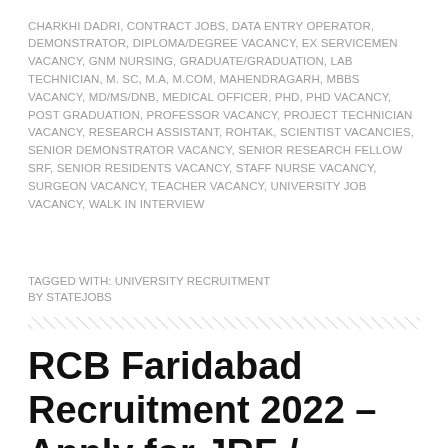CHARKHI DADRI, CONTRACT JOBS, DATA ENTRY OPERATOR, DEMONSTRATOR, DIPLOMA/DEGREE VACANCY, EX SERVICEMEN VACANCY, GNM NURSING, GRADUATE/GRADUATION, LAB TECHNICIAN, M. SC, M.A, M.COM, MAHENDRAGARH, MBBS VACANCY, MD/MS/DNB, MEDICAL OFFICER, PHD, PHD VACANCY, POST GRADUATION, PROFESSOR VACANCY, PROJECT TECHNICIAN VACANCY, RESEARCH ASSISTANT, ROHTAK, SCIENTIST VACANCIES, SENIOR DEMONSTRATOR VACANCY, SENIOR RESEARCH FELLOW SRF, SENIOR RESIDENTS VACANCY, STAFF NURSE VACANCY, SURGEON VACANCY, TEACHER VACANCY, UNIVERSITY JOB VACANCY, WALK IN INTERVIEW
TAGGED WITH: UNIVERSITY RECRUITMENT
BY STATEJOBS
RCB Faridabad Recruitment 2022 – Apply for JRF / Project Assistant